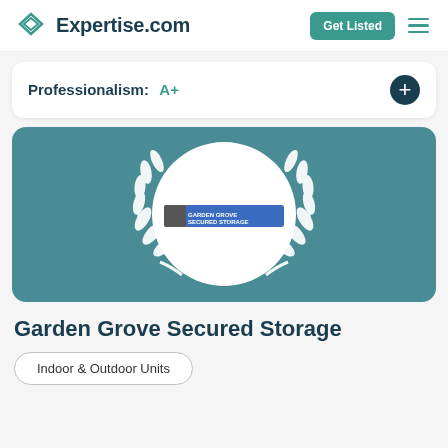Expertise.com
Professionalism: A+
[Figure (logo): Garden Grove Secured Storage badge with laurel wreath on teal background, circular white logo area in center]
Garden Grove Secured Storage
Indoor & Outdoor Units